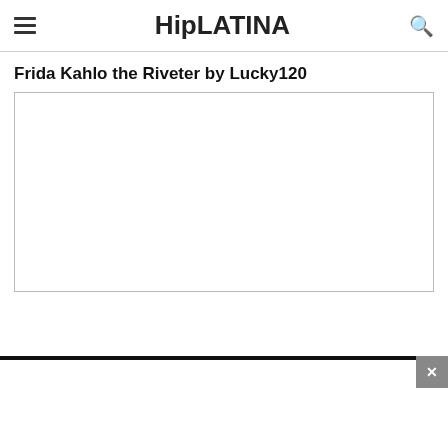HipLATINA
Frida Kahlo the Riveter by Lucky120
[Figure (photo): Large white/blank image area with a thin border, representing an embedded image placeholder for an article about Frida Kahlo the Riveter by Lucky120]